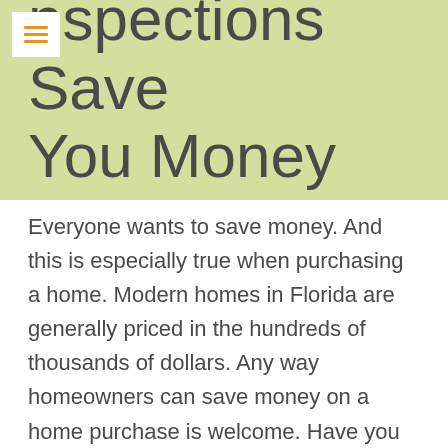Inspections Save You Money
Everyone wants to save money. And this is especially true when purchasing a home. Modern homes in Florida are generally priced in the hundreds of thousands of dollars. Any way homeowners can save money on a home purchase is welcome. Have you ever considered how Hillsborough County home inspections can save you money when purchasing a home? Here are five important ways to save money on your next home